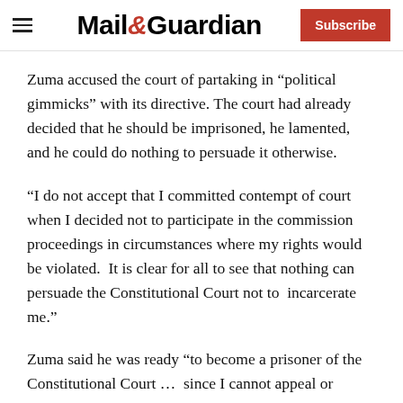Mail&Guardian | Subscribe
Zuma accused the court of partaking in “political gimmicks” with its directive. The court had already decided that he should be imprisoned, he lamented, and he could do nothing to persuade it otherwise.
“I do not accept that I committed contempt of court when I decided not to participate in the commission proceedings in circumstances where my rights would be violated.  It is clear for all to see that nothing can persuade the Constitutional Court not to  incarcerate me.”
Zuma said he was ready “to become a prisoner of the Constitutional Court …  since I cannot appeal or